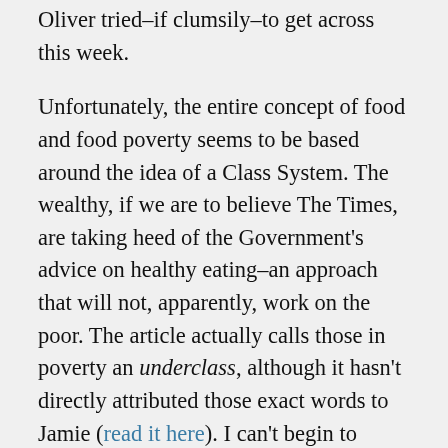Oliver tried–if clumsily–to get across this week.
Unfortunately, the entire concept of food and food poverty seems to be based around the idea of a Class System. The wealthy, if we are to believe The Times, are taking heed of the Government's advice on healthy eating–an approach that will not, apparently, work on the poor. The article actually calls those in poverty an underclass, although it hasn't directly attributed those exact words to Jamie (read it here). I can't begin to express just how offensive that is, and how much it hurts to be deemed as less than, as below. It invalidates my humanity, and that's painful to deal with.
It's not class that's the problem, it's money